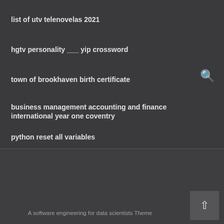list of utv telenovelas 2021
hgtv personality ___ yip crossword
town of brookhaven birth certificate
business management accounting and finance international year one coventry
python reset all variables
universal vare charter school uniforms
Jaeok.lee@gmail.com
(978) 393-6673
A software engineering for data scientists Theme